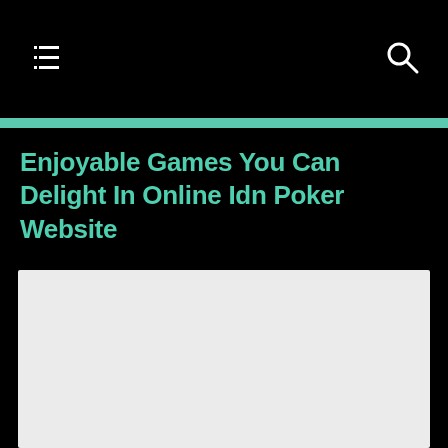Enjoyable Games You Can Delight In Online Idn Poker Website
[Figure (photo): Large light gray image placeholder area below the title]